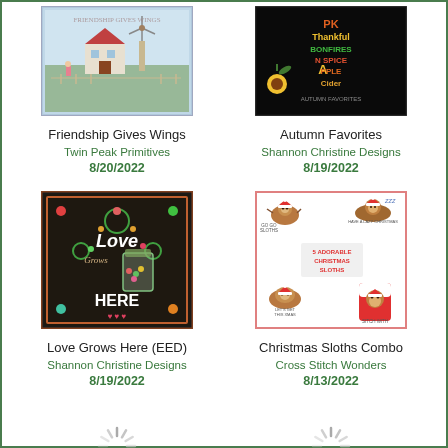[Figure (illustration): Cross stitch pattern image - Friendship Gives Wings, a house and windmill scene in blues]
Friendship Gives Wings
Twin Peak Primitives
8/20/2022
[Figure (illustration): Cross stitch pattern image - Autumn Favorites, dark background with colorful autumn text]
Autumn Favorites
Shannon Christine Designs
8/19/2022
[Figure (illustration): Cross stitch pattern image - Love Grows Here, dark chalkboard style with flowers and jar]
Love Grows Here (EED)
Shannon Christine Designs
8/19/2022
[Figure (illustration): Cross stitch pattern image - Christmas Sloths Combo, 5 adorable Christmas sloths on white]
Christmas Sloths Combo
Cross Stitch Wonders
8/13/2022
[Figure (illustration): Loading spinner placeholder (left)]
[Figure (illustration): Loading spinner placeholder (right)]